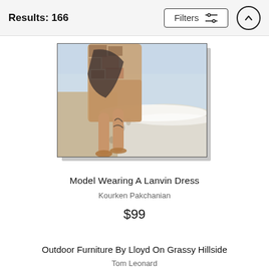Results: 166
[Figure (screenshot): Screenshot of a search results page header showing 'Results: 166', a Filters button with sliders icon, and an up-arrow circular button]
[Figure (photo): Photo of a model walking on a beach wearing a Lanvin dress, showing legs and feet in sand near ocean waves]
Model Wearing A Lanvin Dress
Kourken Pakchanian
$99
Outdoor Furniture By Lloyd On Grassy Hillside
Tom Leonard